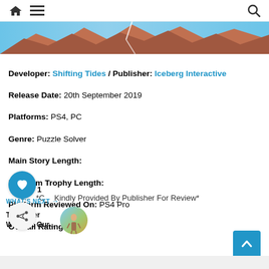Home / Menu / Search icons
[Figure (illustration): Banner image showing a fantasy landscape with red rocky terrain, blue sky, and dramatic scenery]
Developer: Shifting Tides / Publisher: Iceberg Interactive
Release Date: 20th September 2019
Platforms: PS4, PC
Genre: Puzzle Solver
Main Story Length:
Platinum Trophy Length:
Platform Reviewed On: PS4 Pro
Overall Rating: 3/5
*Copy Kindly Provided By Publisher For Review*
WHAT'S NEXT → The Outer Worlds : Our...